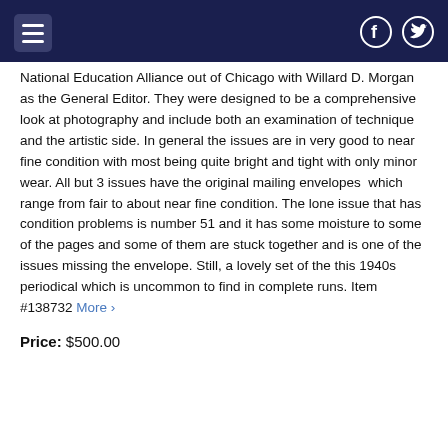National Education Alliance out of Chicago with Willard D. Morgan as the General Editor. They were designed to be a comprehensive look at photography and include both an examination of technique and the artistic side. In general the issues are in very good to near fine condition with most being quite bright and tight with only minor wear. All but 3 issues have the original mailing envelopes  which range from fair to about near fine condition. The lone issue that has condition problems is number 51 and it has some moisture to some of the pages and some of them are stuck together and is one of the issues missing the envelope. Still, a lovely set of the this 1940s periodical which is uncommon to find in complete runs. Item #138732 More ›
Price: $500.00